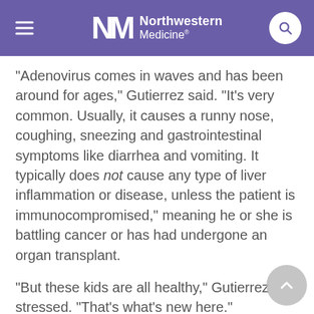Northwestern Medicine
"Adenovirus comes in waves and has been around for ages," Gutierrez said. "It's very common. Usually, it causes a runny nose, coughing, sneezing and gastrointestinal symptoms like diarrhea and vomiting. It typically does not cause any type of liver inflammation or disease, unless the patient is immunocompromised," meaning he or she is battling cancer or has had undergone an organ transplant.
"But these kids are all healthy," Gutierrez stressed. "That's what's new here."
Gutierrez acknowledged that while testing is still underway worldwide, not all of the 116 British